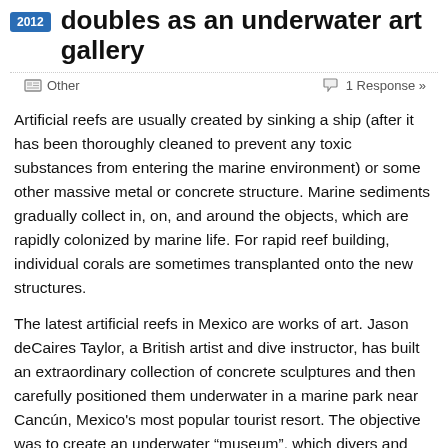doubles as an underwater art gallery
Other   1 Response »
Artificial reefs are usually created by sinking a ship (after it has been thoroughly cleaned to prevent any toxic substances from entering the marine environment) or some other massive metal or concrete structure. Marine sediments gradually collect in, on, and around the objects, which are rapidly colonized by marine life. For rapid reef building, individual corals are sometimes transplanted onto the new structures.
The latest artificial reefs in Mexico are works of art. Jason deCaires Taylor, a British artist and dive instructor, has built an extraordinary collection of concrete sculptures and then carefully positioned them underwater in a marine park near Cancún, Mexico's most popular tourist resort. The objective was to create an underwater “museum”, which divers and snorkelers can explore, while simultaneously providing a variety of structures for sea-life to inhabit.